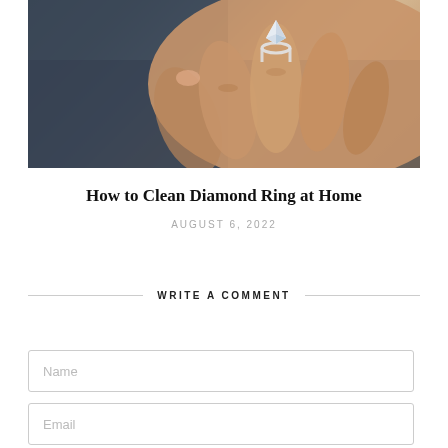[Figure (photo): Close-up photo of a hand wearing a diamond solitaire ring, resting on a dark blue fabric background. The hand has light skin tone and the ring features a silver band with a prominent diamond.]
How to Clean Diamond Ring at Home
AUGUST 6, 2022
WRITE A COMMENT
Name
Email